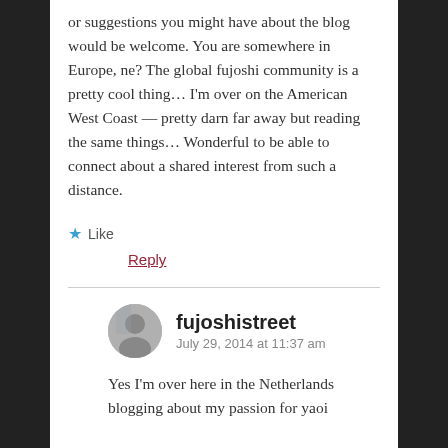or suggestions you might have about the blog would be welcome. You are somewhere in Europe, ne? The global fujoshi community is a pretty cool thing… I'm over on the American West Coast — pretty darn far away but reading the same things… Wonderful to be able to connect about a shared interest from such a distance.
★ Like
Reply
fujoshistreet
July 29, 2014 at 11:37 am
Yes I'm over here in the Netherlands blogging about my passion for yaoi